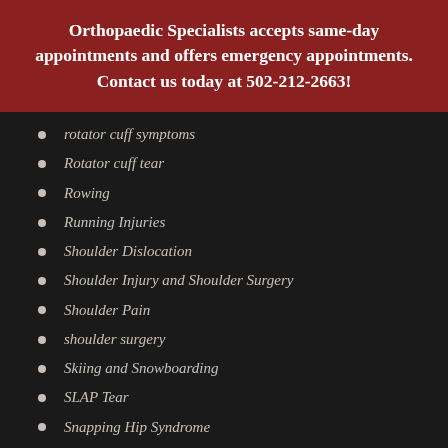Orthopaedic Specialists accepts same-day appointments and offers emergency appointments. Contact us today at 502-212-2663!
rotator cuff symptoms
Rotator cuff tear
Rowing
Running Injuries
Shoulder Dislocation
Shoulder Injury and Shoulder Surgery
Shoulder Pain
shoulder surgery
Skiing and Snowboarding
SLAP Tear
Snapping Hip Syndrome
Soccer Injuries
Spine and Back
Spondylolysis
Sports Injury and Children / Teens